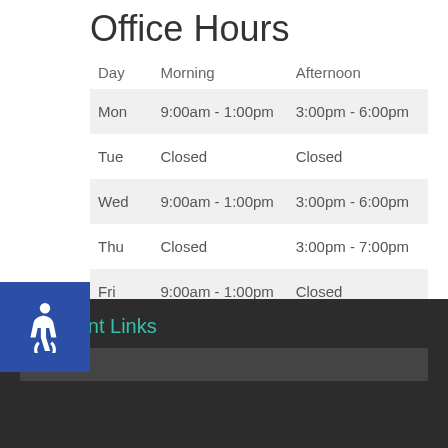Office Hours
| Day | Morning | Afternoon |
| --- | --- | --- |
| Mon | 9:00am - 1:00pm | 3:00pm - 6:00pm |
| Tue | Closed | Closed |
| Wed | 9:00am - 1:00pm | 3:00pm - 6:00pm |
| Thu | Closed | 3:00pm - 7:00pm |
| Fri | 9:00am - 1:00pm | Closed |
Important Links
Home